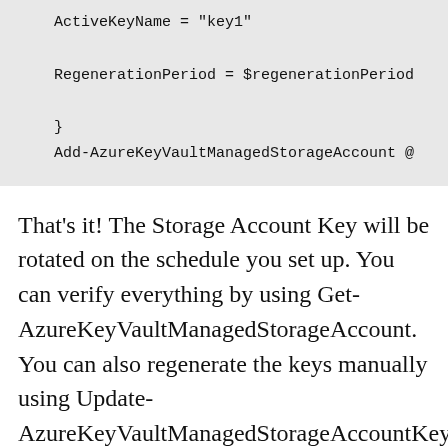[Figure (screenshot): Code block showing PowerShell/Azure CLI commands: ActiveKeyName = 'key1', RegenerationPeriod = $regenerationPeriod, closing brace, and Add-AzureKeyVaultManagedStorageAccount @...]
That's it! The Storage Account Key will be rotated on the schedule you set up. You can verify everything by using Get-AzureKeyVaultManagedStorageAccount. You can also regenerate the keys manually using Update-AzureKeyVaultManagedStorageAccountKey if you don't want to wait.
Share this: